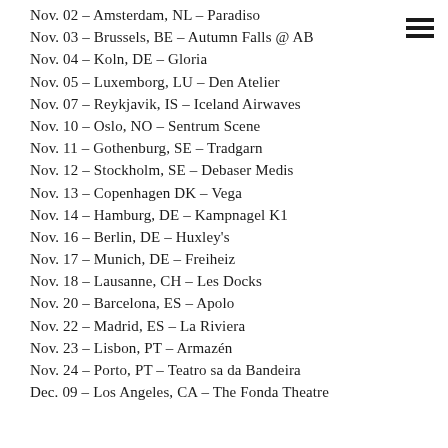Nov. 02 – Amsterdam, NL – Paradiso
Nov. 03 – Brussels, BE – Autumn Falls @ AB
Nov. 04 – Koln, DE – Gloria
Nov. 05 – Luxemborg, LU – Den Atelier
Nov. 07 – Reykjavik, IS – Iceland Airwaves
Nov. 10 – Oslo, NO – Sentrum Scene
Nov. 11 – Gothenburg, SE – Tradgarn
Nov. 12 – Stockholm, SE – Debaser Medis
Nov. 13 – Copenhagen DK – Vega
Nov. 14 – Hamburg, DE – Kampnagel K1
Nov. 16 – Berlin, DE – Huxley's
Nov. 17 – Munich, DE – Freiheiz
Nov. 18  – Lausanne, CH – Les Docks
Nov. 20 – Barcelona, ES – Apolo
Nov. 22 – Madrid, ES – La Riviera
Nov. 23 – Lisbon, PT – Armazén
Nov. 24 – Porto, PT – Teatro sa da Bandeira
Dec. 09 – Los Angeles, CA – The Fonda Theatre